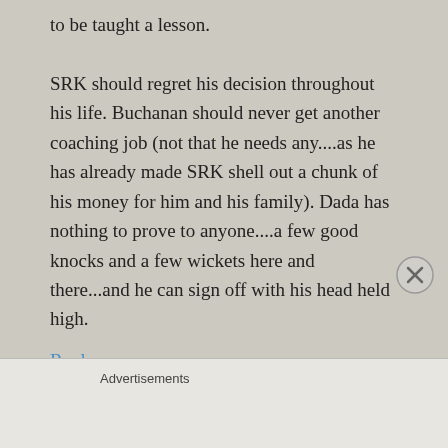to be taught a lesson. SRK should regret his decision throughout his life. Buchanan should never get another coaching job (not that he needs any....as he has already made SRK shell out a chunk of his money for him and his family). Dada has nothing to prove to anyone....a few good knocks and a few wickets here and there...and he can sign off with his head held high.
Reply
Advertisements